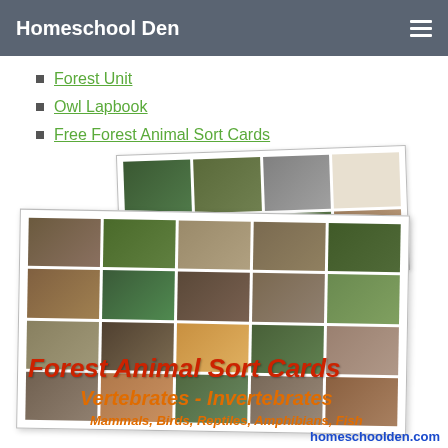Homeschool Den
Forest Unit
Owl Lapbook
Free Forest Animal Sort Cards
[Figure (photo): Forest Animal Sort Cards promotional image showing two overlapping cards with grid layouts of forest animal photos. Text overlay reads: Forest Animal Sort Cards, Vertebrates - Invertebrates, Mammals, Birds, Reptiles, Amphibians, Fish, homeschoolden.com]
Forest Animal Sort Cards
Vertebrates - Invertebrates
Mammals, Birds, Reptiles, Amphibians, Fish
homeschoolden.com